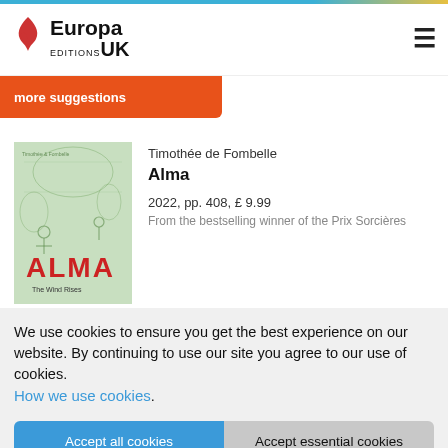Europa Editions UK
[Figure (screenshot): Orange button strip partially visible with text 'more suggestions']
[Figure (illustration): Book cover for Alma by Timothée de Fombelle, green illustrated cover with red title text and subtitle 'The Wind Rises']
Timothée de Fombelle
Alma
2022, pp. 408, £ 9.99
From the bestselling winner of the Prix Sorcières
We use cookies to ensure you get the best experience on our website. By continuing to use our site you agree to our use of cookies. How we use cookies.
Accept all cookies
Accept essential cookies
Manage my settings